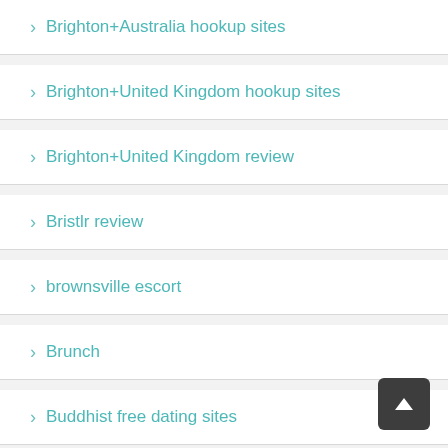Brighton+Australia hookup sites
Brighton+United Kingdom hookup sites
Brighton+United Kingdom review
Bristlr review
brownsville escort
Brunch
Buddhist free dating sites
Buffalo+NY+New York hookup sites